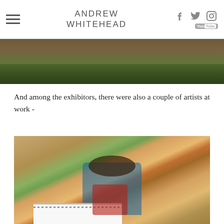ANDREW WHITEHEAD
[Figure (photo): Top portion of an outdoor photo showing ground with vegetation and dark surface]
And among the exhibitors, there were also a couple of artists at work -
[Figure (photo): A young boy sitting on a red chair outdoors at an exhibition, with artwork laid on the ground around him and people walking in the background. Another person in foreground holds a sketchbook.]